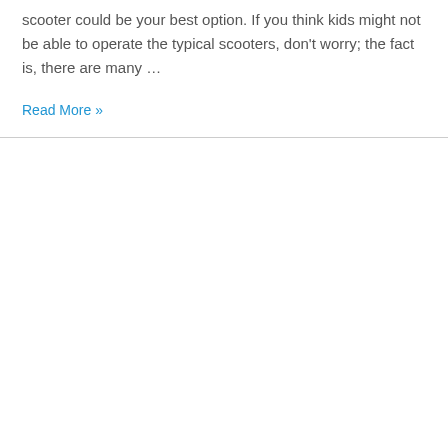scooter could be your best option. If you think kids might not be able to operate the typical scooters, don't worry; the fact is, there are many …
Read More »